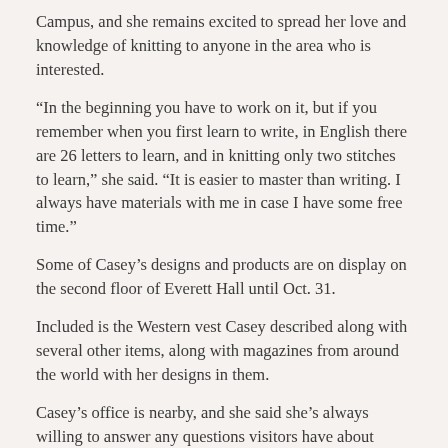Campus, and she remains excited to spread her love and knowledge of knitting to anyone in the area who is interested.
“In the beginning you have to work on it, but if you remember when you first learn to write, in English there are 26 letters to learn, and in knitting only two stitches to learn,” she said. “It is easier to master than writing. I always have materials with me in case I have some free time.”
Some of Casey’s designs and products are on display on the second floor of Everett Hall until Oct. 31.
Included is the Western vest Casey described along with several other items, along with magazines from around the world with her designs in them.
Casey’s office is nearby, and she said she’s always willing to answer any questions visitors have about knitting.
“I truly love doing this, and anyone can learn it,” she said.